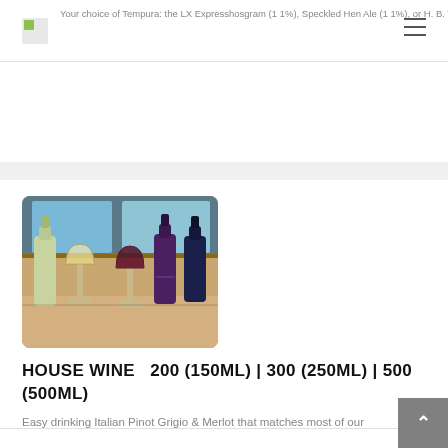Your choice of Tempura: the LX Expresshosgram (1 1%), Speckled Hen Ale (1 1%), or H. B. Weiss (5 1%)
[Figure (photo): Photo of wine bottles and glasses on a counter: green/yellow and purple-colored bottles with corresponding wine glasses]
HOUSE WINE  200 (150ML) | 300 (250ML) | 500 (500ML)
Easy drinking Italian Pinot Grigio & Merlot that matches most of our dishes